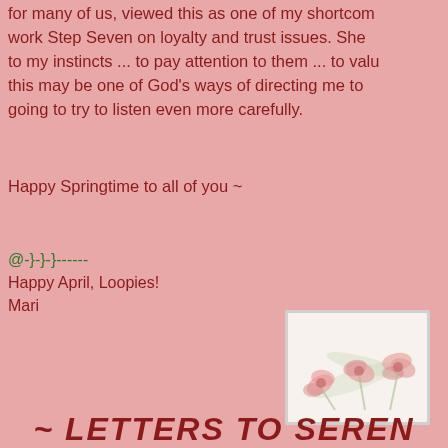for many of us, viewed this as one of my shortcomings... work Step Seven on loyalty and trust issues. She ... to my instincts ... to pay attention to them ... to value ... this may be one of God's ways of directing me to ... going to try to listen even more carefully.
Happy Springtime to all of you ~
@-}-}-}------
Happy April, Loopies!
Mari
[Figure (illustration): Small rectangular image with floral design — soft pink and peach flowers on a cream/white background with a light grey border]
~ LETTERS TO SEREN